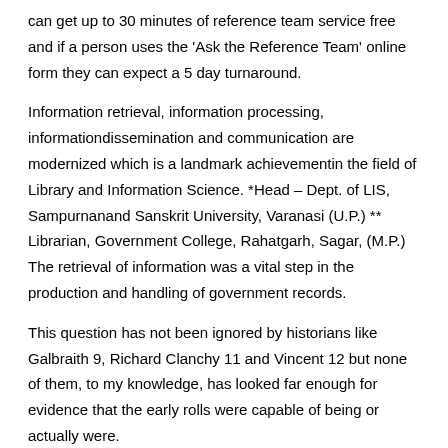can get up to 30 minutes of reference team service free and if a person uses the 'Ask the Reference Team' online form they can expect a 5 day turnaround.
Information retrieval, information processing, informationdissemination and communication are modernized which is a landmark achievementin the field of Library and Information Science. *Head – Dept. of LIS, Sampurnanand Sanskrit University, Varanasi (U.P.) ** Librarian, Government College, Rahatgarh, Sagar, (M.P.) The retrieval of information was a vital step in the production and handling of government records.
This question has not been ignored by historians like Galbraith 9, Richard Clanchy 11 and Vincent 12 but none of them, to my knowledge, has looked far enough for evidence that the early rolls were capable of being or actually were.
Even core components of librarianship such as information organisation and access are proving attractive to a wider audience, as we hear that 'everyone is an information specialist now'. This is